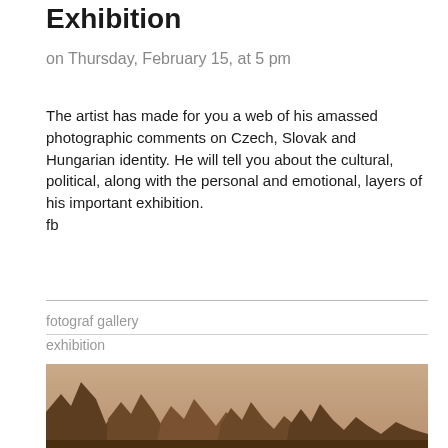Exhibition
on Thursday, February 15, at 5 pm
The artist has made for you a web of his amassed photographic comments on Czech, Slovak and Hungarian identity. He will tell you about the cultural, political, along with the personal and emotional, layers of his important exhibition.
fb
fotograf gallery
exhibition
[Figure (photo): Sepia-toned photograph of jagged rocky mountain peaks against a hazy sky, partially cropped at the bottom of the page.]